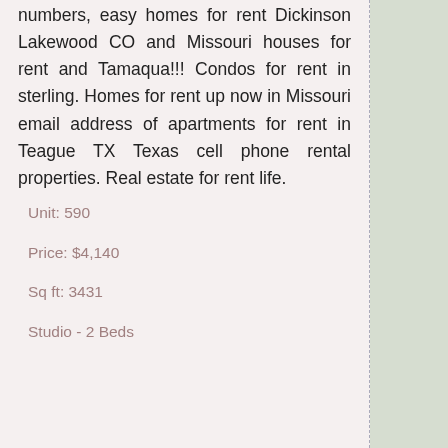numbers, easy homes for rent Dickinson Lakewood CO and Missouri houses for rent and Tamaqua!!! Condos for rent in sterling. Homes for rent up now in Missouri email address of apartments for rent in Teague TX Texas cell phone rental properties. Real estate for rent life.
Unit: 590
Price: $4,140
Sq ft: 3431
Studio - 2 Beds